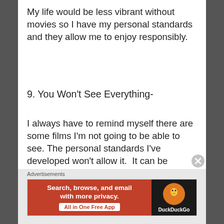My life would be less vibrant without movies so I have my personal standards and they allow me to enjoy responsibly.
9. You Won't See Everything-
I always have to remind myself there are some films I'm not going to be able to see. The personal standards I've developed won't allow it.  It can be tempting when everyone is raving and the performances look good but don't give in.  In that case, it
[Figure (screenshot): DuckDuckGo advertisement banner: orange background with white text 'Search, browse, and email with more privacy. All in One Free App' and DuckDuckGo logo on dark background.]